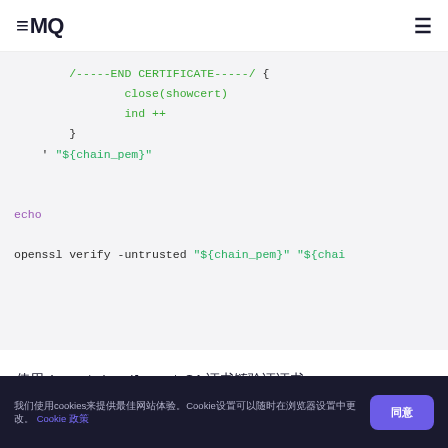≡MQ
/-----END CERTIFICATE-----/ {
    close(showcert)
    ind ++
}
' "${chain_pem}"

echo

openssl verify -untrusted "${chain_pem}" "${chai
使用 1_root_bundle.crt  CA 证书链验证证书
我们使用cookies来提供最佳网站体验。Cookie设置可以随时在浏览器设置中更改。 Cookie 政策  同意